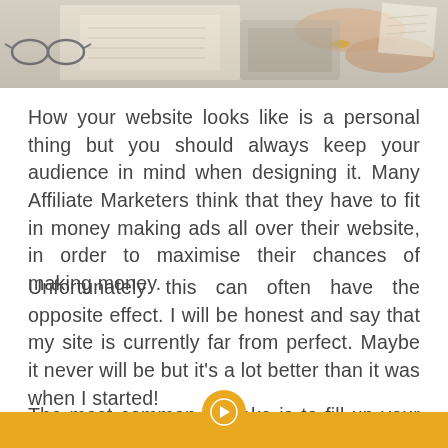[Figure (photo): Overhead photo of a person's hands working at a desk with glasses, papers, and other items visible]
How your website looks like is a personal thing but you should always keep your audience in mind when designing it. Many Affiliate Marketers think that they have to fit in money making ads all over their website, in order to maximise their chances of making money.
Unfortunately this can often have the opposite effect. I will be honest and say that my site is currently far from perfect. Maybe it never will be but it's a lot better than it was when I started!
The most common mistake is to fill up your website with lots of Ads